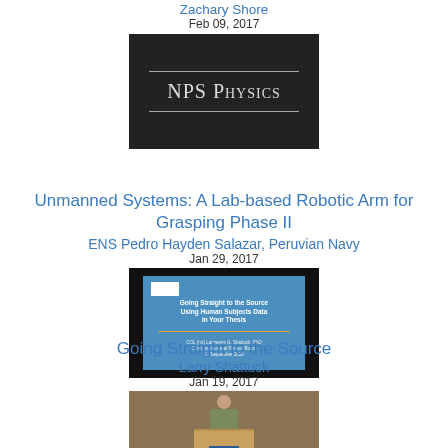Zachary Shore
Feb 09, 2017
[Figure (photo): NPS Physics dark themed slide with horizontal lines and text 'NPS Physics']
Unmanned Systems: A Lab-based Robotic Arm for Grasping Phase II
ENS Pedro Hayden Salazar, Peruvian Navy
Jan 29, 2017
[Figure (screenshot): Presentation slide titled 'Going Straight to the Source Using Human Subjects Data in Your Thesis' by COL (ret) Lawrence G. Shattuck, PhD, Chair, Institutional Review Board, 21 September 2016]
Going Straight to the Source
Larry Shattuck
Jan 19, 2017
[Figure (photo): Person standing at an NPS podium in front of an audience]